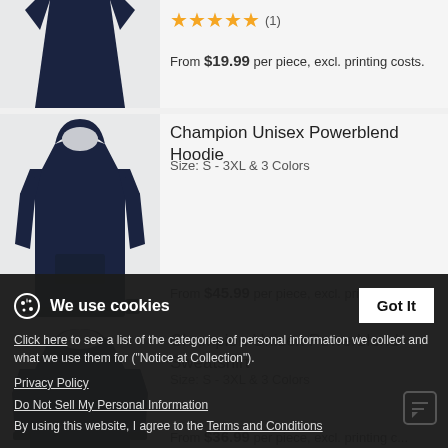[Figure (photo): Navy blue dress product image (partially visible)]
★★★★★ (1)
From $19.99 per piece, excl. printing costs.
[Figure (photo): Champion Unisex Powerblend Hoodie in navy blue]
Champion Unisex Powerblend Hoodie
Size: S - 3XL & 3 Colors
From $45.99 per piece, excl. printing costs.
[Figure (photo): Champion Unisex Powerblend Sweatshirt in navy blue (partially visible)]
Champion Unisex Powerblend Sweatshirt
Size: S - 3XL & 3 Colors
From $36.99 per piece, excl. printing costs.
We use cookies
Click here to see a list of the categories of personal information we collect and what we use them for ("Notice at Collection").
Privacy Policy
Do Not Sell My Personal Information
By using this website, I agree to the Terms and Conditions